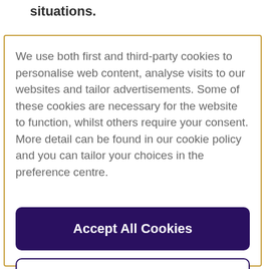situations.
We use both first and third-party cookies to personalise web content, analyse visits to our websites and tailor advertisements. Some of these cookies are necessary for the website to function, whilst others require your consent. More detail can be found in our cookie policy and you can tailor your choices in the preference centre.
Accept All Cookies
Cookies Settings